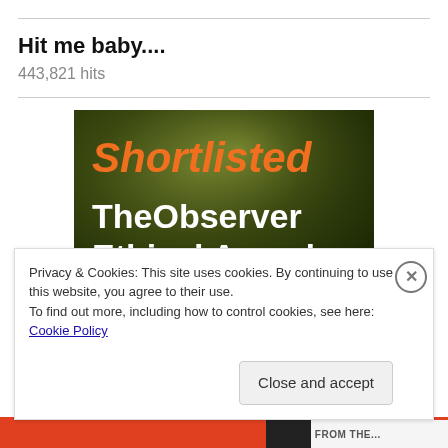Hit me baby....
443,821 hits
[Figure (illustration): Shortlisted badge for The Observer Ethical Awards. Dark olive/green gradient background with orange text 'Shortlisted' at the top, and white text 'The Observer Ethical Awards' below, followed by smaller white text 'In association with'.]
Privacy & Cookies: This site uses cookies. By continuing to use this website, you agree to their use.
To find out more, including how to control cookies, see here: Cookie Policy
Close and accept